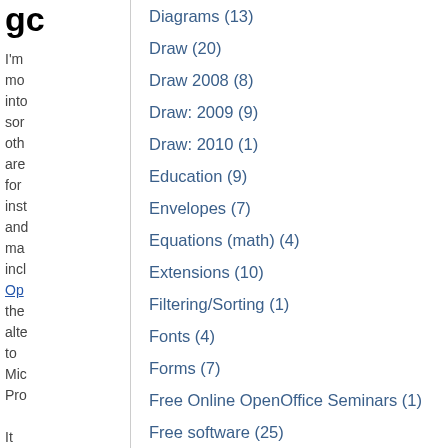go
I'm mo into sor oth are for inst and ma incl Op the alte to Mic Pro It see like a
Diagrams (13)
Draw (20)
Draw 2008 (8)
Draw: 2009 (9)
Draw: 2010 (1)
Education (9)
Envelopes (7)
Equations (math) (4)
Extensions (10)
Filtering/Sorting (1)
Fonts (4)
Forms (7)
Free Online OpenOffice Seminars (1)
Free software (25)
General (28)